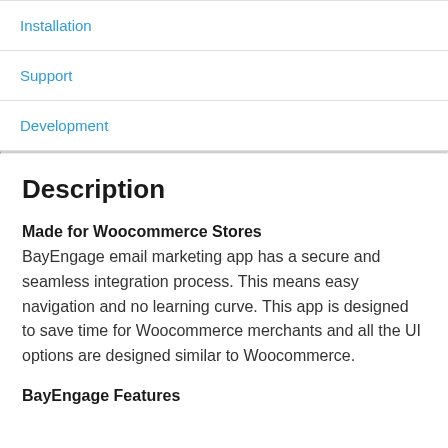Installation
Support
Development
Description
Made for Woocommerce Stores
BayEngage email marketing app has a secure and seamless integration process. This means easy navigation and no learning curve. This app is designed to save time for Woocommerce merchants and all the UI options are designed similar to Woocommerce.
BayEngage Features